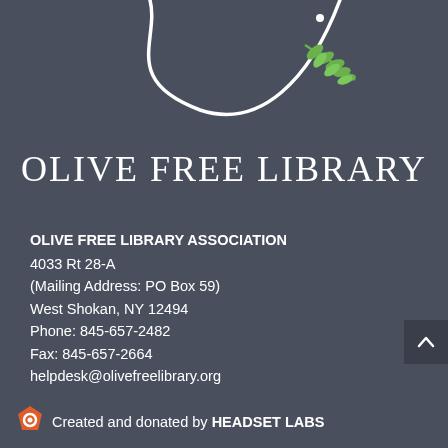[Figure (logo): Olive Free Library logo — white curved lines forming an olive branch silhouette with a green leaf sprig and a small dot, on a dark slate background]
OLIVE FREE LIBRARY
OLIVE FREE LIBRARY ASSOCIATION
4033 Rt 28-A
(Mailing Address: PO Box 59)
West Shokan, NY 12494
Phone: 845-657-2482
Fax: 845-657-2664
helpdesk@olivefreelibrary.org
Created and donated by HEADSET LABS